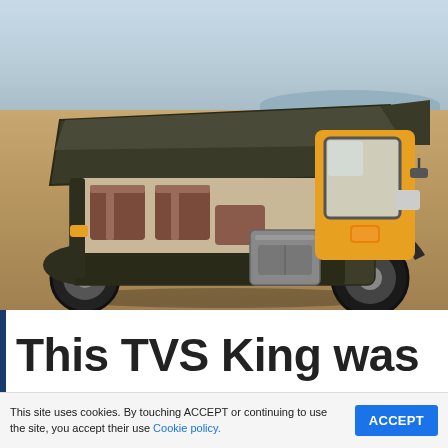[Figure (photo): A TVS King auto-rickshaw (tuk-tuk) three-wheeler with dark olive/grey body and yellow front panel, parked on gravel with an arid landscape and water body in the background. The vehicle has a roof canopy, brown seats, and luggage visible inside.]
This TVS King was
...during 2023... (partially visible, cut off)
This site uses cookies. By touching ACCEPT or continuing to use the site, you accept their use Cookie policy.